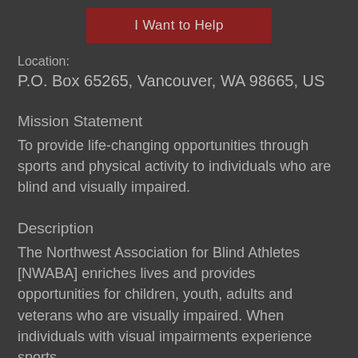[Figure (other): Button labeled 'I Want to Help' with dark red background]
Location:
P.O. Box 65265, Vancouver, WA 98665, US
Mission Statement
To provide life-changing opportunities through sports and physical activity to individuals who are blind and visually impaired.
Description
The Northwest Association for Blind Athletes [NWABA] enriches lives and provides opportunities for children, youth, adults and veterans who are visually impaired. When individuals with visual impairments experience sports